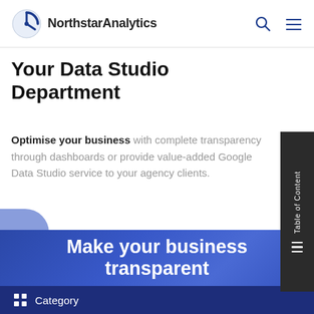NorthstarAnalytics
Your Data Studio Department
Optimise your business with complete transparency through dashboards or provide value-added Google Data Studio service to your agency clients.
[Figure (screenshot): Table of Content sidebar tab on right edge]
[Figure (illustration): Blue gradient section with white bold text: Make your business transparent]
Category